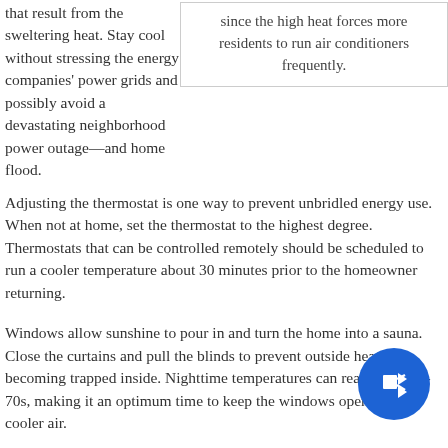that result from the sweltering heat. Stay cool without stressing the energy companies' power grids and possibly avoid a devastating neighborhood power outage—and home flood.
since the high heat forces more residents to run air conditioners frequently.
Adjusting the thermostat is one way to prevent unbridled energy use. When not at home, set the thermostat to the highest degree. Thermostats that can be controlled remotely should be scheduled to run a cooler temperature about 30 minutes prior to the homeowner returning.
Windows allow sunshine to pour in and turn the home into a sauna. Close the curtains and pull the blinds to prevent outside heat from becoming trapped inside. Nighttime temperatures can reach the mid-70s, making it an optimum time to keep the windows open to receive cooler air.
Appliance use for ovens and washing machines that utilize significant amounts of energy should be minimal during the day. Operate